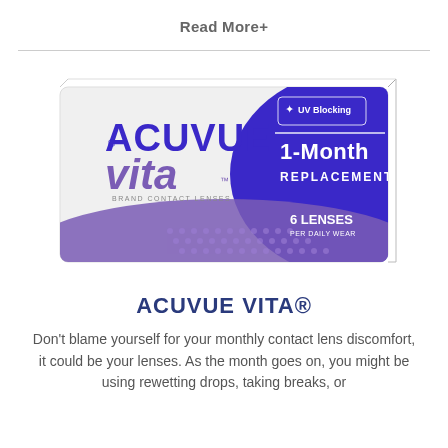Read More+
[Figure (photo): ACUVUE Vita 1-Month Replacement contact lens box product photo. White and purple/blue box with ACUVUE Vita branding, UV Blocking badge, 1-Month Replacement label, and 6 Lenses text.]
ACUVUE VITA®
Don't blame yourself for your monthly contact lens discomfort, it could be your lenses. As the month goes on, you might be using rewetting drops, taking breaks, or